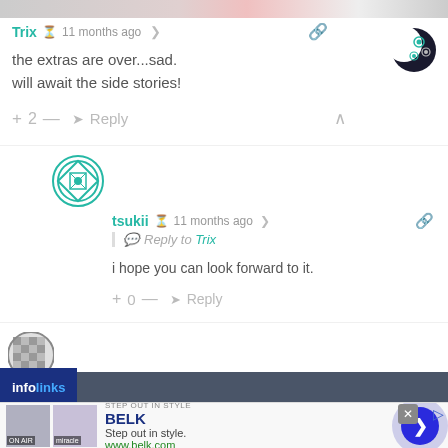[Figure (screenshot): Top partial image strip showing cropped website header]
Trix  11 months ago
the extras are over...sad.
will await the side stories!
+ 2 —  Reply
[Figure (illustration): Moon avatar with floral gear decorations]
[Figure (illustration): Green circular logo avatar for tsukii]
tsukii  11 months ago
Reply to Trix
i hope you can look forward to it.
+ 0 —  Reply
[Figure (illustration): Partial avatar with grid/checkerboard pattern]
infolinks
[Figure (screenshot): BELK advertisement banner: Step out in style. www.belk.com]